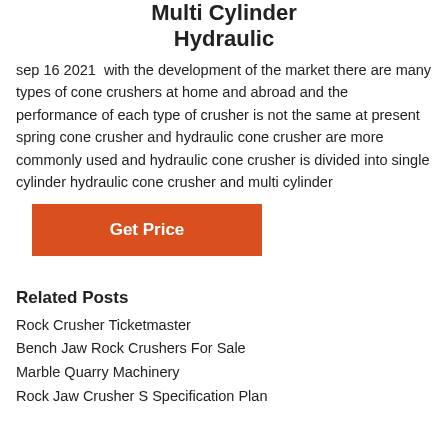Multi Cylinder Hydraulic
sep 16 2021  with the development of the market there are many types of cone crushers at home and abroad and the performance of each type of crusher is not the same at present spring cone crusher and hydraulic cone crusher are more commonly used and hydraulic cone crusher is divided into single cylinder hydraulic cone crusher and multi cylinder
Get Price
Related Posts
Rock Crusher Ticketmaster
Bench Jaw Rock Crushers For Sale
Marble Quarry Machinery
Rock Jaw Crusher S Specification Plan